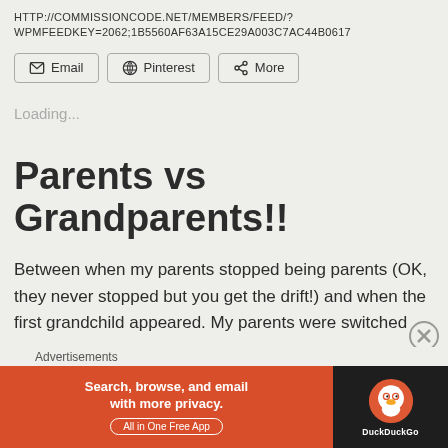HTTP://COMMISSIONCODE.NET/MEMBERS/FEED/?WPMFEEDKEY=2062;1B5560AF63A15CE29A003C7AC44B0617
[Figure (other): Share buttons: Email, Pinterest, More]
Loading...
Parents vs Grandparents!!
Between when my parents stopped being parents (OK, they never stopped but you get the drift!) and when the first grandchild appeared. My parents were switched
Advertisements
[Figure (other): DuckDuckGo advertisement banner: Search, browse, and email with more privacy. All in One Free App]